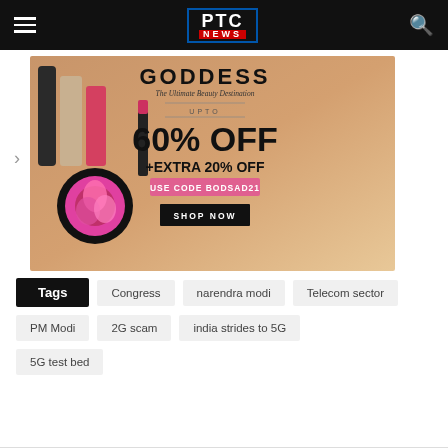PTC NEWS
[Figure (photo): Advertisement banner for beauty store 'GODDESS' showing L'Oreal, Anastasia, Sery cosmetics products. Text reads: The Ultimate Beauty Destination, UPTO 60% OFF +EXTRA 20% OFF, USE CODE BODSAD21, SHOP NOW]
Tags | Congress | narendra modi | Telecom sector | PM Modi | 2G scam | india strides to 5G | 5G test bed